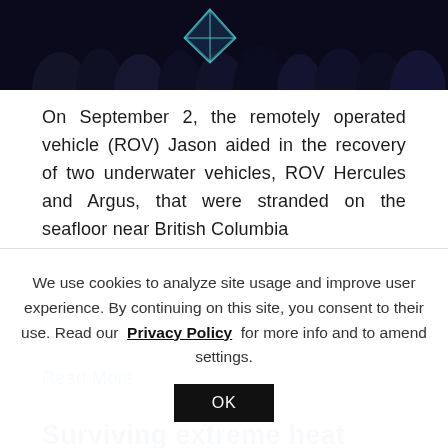[Figure (photo): Dark photo showing silhouettes of people at a gathering or ceremony, with a blue-green geometric shape visible in the background.]
On September 2, the remotely operated vehicle (ROV) Jason aided in the recovery of two underwater vehicles, ROV Hercules and Argus, that were stranded on the seafloor near British Columbia
Read More
Surviving extreme heat
August 19, 2021
We use cookies to analyze site usage and improve user experience. By continuing on this site, you consent to their use. Read our Privacy Policy for more info and to amend settings.